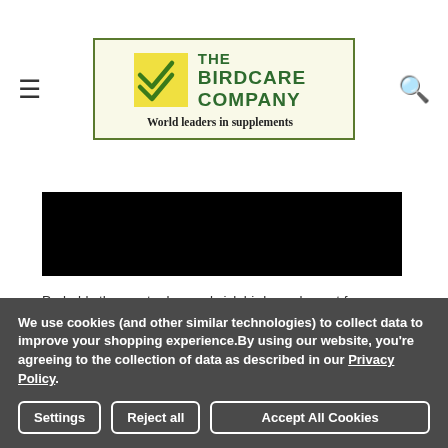[Figure (logo): The Birdcare Company logo with yellow checkmark square and green text reading THE BIRDCARE COMPANY World leaders in supplements]
[Figure (photo): Black redacted/obscured product image]
Probably the most advanced sick bird supplement for over
We use cookies (and other similar technologies) to collect data to improve your shopping experience.By using our website, you're agreeing to the collection of data as described in our Privacy Policy.